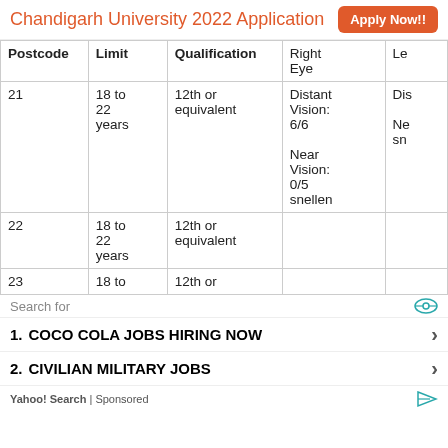Chandigarh University 2022 Application  Apply Now!!
| Postcode | Limit | Qualification | Right Eye | Le |
| --- | --- | --- | --- | --- |
| 21 | 18 to 22 years | 12th or equivalent | Distant Vision: 6/6

Near Vision: 0/5 snellen | Dis

Ne
sn |
| 22 | 18 to 22 years | 12th or equivalent |  |  |
| 23 | 18 to | 12th or |  |  |
Search for
1. COCO COLA JOBS HIRING NOW
2. CIVILIAN MILITARY JOBS
Yahoo! Search | Sponsored